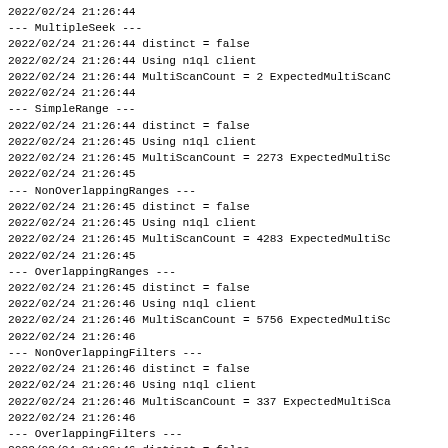2022/02/24 21:26:44
--- MultipleSeek ---
2022/02/24 21:26:44 distinct = false
2022/02/24 21:26:44 Using n1ql client
2022/02/24 21:26:44 MultiScanCount = 2 ExpectedMultiScanC
2022/02/24 21:26:44
--- SimpleRange ---
2022/02/24 21:26:44 distinct = false
2022/02/24 21:26:45 Using n1ql client
2022/02/24 21:26:45 MultiScanCount = 2273 ExpectedMultiSc
2022/02/24 21:26:45
--- NonOverlappingRanges ---
2022/02/24 21:26:45 distinct = false
2022/02/24 21:26:45 Using n1ql client
2022/02/24 21:26:45 MultiScanCount = 4283 ExpectedMultiSc
2022/02/24 21:26:45
--- OverlappingRanges ---
2022/02/24 21:26:45 distinct = false
2022/02/24 21:26:46 Using n1ql client
2022/02/24 21:26:46 MultiScanCount = 5756 ExpectedMultiSc
2022/02/24 21:26:46
--- NonOverlappingFilters ---
2022/02/24 21:26:46 distinct = false
2022/02/24 21:26:46 Using n1ql client
2022/02/24 21:26:46 MultiScanCount = 337 ExpectedMultiSca
2022/02/24 21:26:46
--- OverlappingFilters ---
2022/02/24 21:26:46 distinct = false
2022/02/24 21:26:46 Using n1ql client
2022/02/24 21:26:46 MultiScanCount = 2559 ExpectedMultiSc